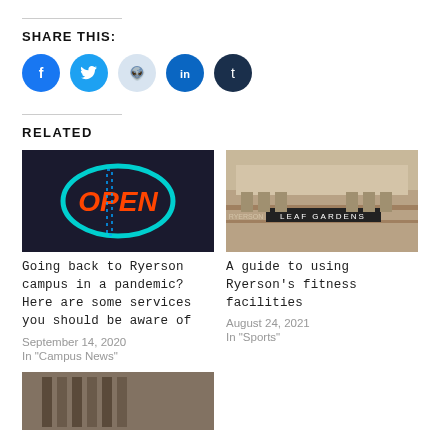SHARE THIS:
[Figure (infographic): Social media share buttons: Facebook, Twitter, Reddit, LinkedIn, Tumblr]
RELATED
[Figure (photo): Neon OPEN sign in dark window]
Going back to Ryerson campus in a pandemic? Here are some services you should be aware of
September 14, 2020
In "Campus News"
[Figure (photo): Exterior of Ryerson Leaf Gardens building]
A guide to using Ryerson's fitness facilities
August 24, 2021
In "Sports"
[Figure (photo): Partial preview of a third related article image]